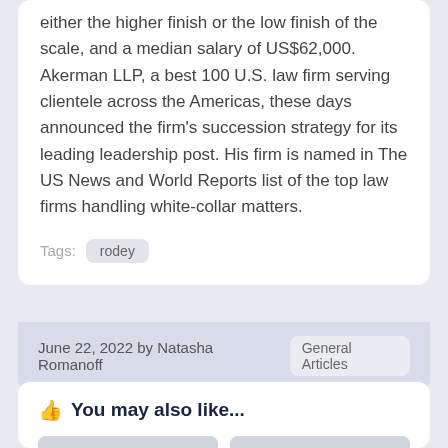either the higher finish or the low finish of the scale, and a median salary of US$62,000. Akerman LLP, a best 100 U.S. law firm serving clientele across the Americas, these days announced the firm's succession strategy for its leading leadership post. His firm is named in The US News and World Reports list of the top law firms handling white-collar matters.
Tags: rodey
June 22, 2022 by Natasha Romanoff   General Articles
You may also like...
[Figure (photo): Two placeholder thumbnail images with camera icons]